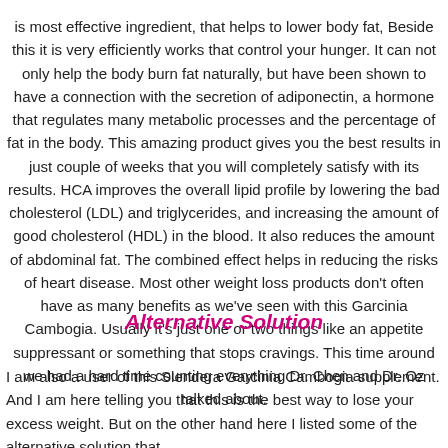is most effective ingredient, that helps to lower body fat, Beside this it is very efficiently works that control your hunger. It can not only help the body burn fat naturally, but have been shown to have a connection with the secretion of adiponectin, a hormone that regulates many metabolic processes and the percentage of fat in the body. This amazing product gives you the best results in just couple of weeks that you will completely satisfy with its results. HCA improves the overall lipid profile by lowering the bad cholesterol (LDL) and triglycerides, and increasing the amount of good cholesterol (HDL) in the blood. It also reduces the amount of abdominal fat. The combined effect helps in reducing the risks of heart disease. Most other weight loss products don't often have as many benefits as we've seen with this Garcinia Cambogia. Usually it's just one or two things like an appetite suppressant or something that stops cravings. This time around we had a hard time counting everything Dr. Chen and Dr. Oz talked about.
Alternative Solution
I am also a user of this Slendera Garcinia Cambogia supplement. And I am here telling you that this is the best way to lose your excess weight. But on the other hand here I listed some of the alternative solution that